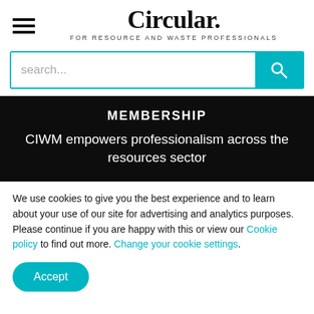Circular. FOR RESOURCE AND WASTE PROFESSIONALS
[Figure (other): Search bar with teal border and teal search button with magnifying glass icon, placeholder text 'search...']
MEMBERSHIP
CIWM empowers professionalism across the resources sector
We use cookies to give you the best experience and to learn about your use of our site for advertising and analytics purposes. Please continue if you are happy with this or view our Cookie policy to find out more. Change your cookie settings.
Accept